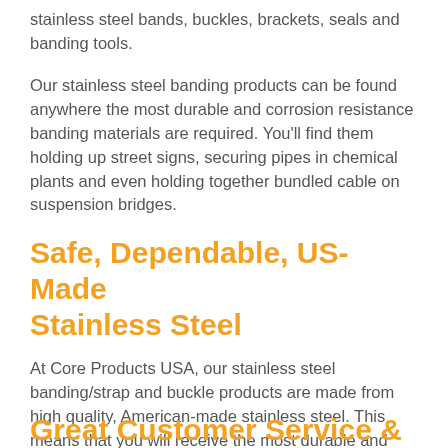stainless steel bands, buckles, brackets, seals and banding tools.
Our stainless steel banding products can be found anywhere the most durable and corrosion resistance banding materials are required. You'll find them holding up street signs, securing pipes in chemical plants and even holding together bundled cable on suspension bridges.
Safe, Dependable, US-Made Stainless Steel
At Core Products USA, our stainless steel banding/strap and buckle products are made from high quality, American-made stainless steel. This means that you will receive the most durable and long lasting products available on the market.
Great Customer Service &